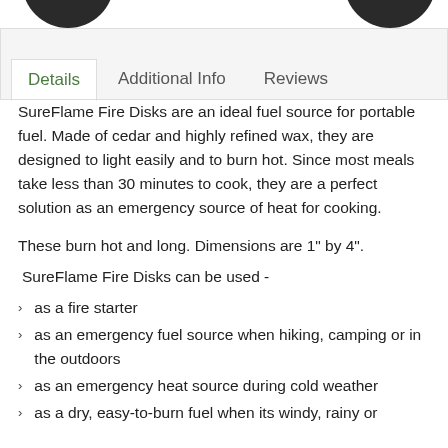[Figure (other): Two dark circular product images partially visible at the top of the page]
Details | Additional Info | Reviews
SureFlame Fire Disks are an ideal fuel source for portable fuel. Made of cedar and highly refined wax, they are designed to light easily and to burn hot. Since most meals take less than 30 minutes to cook, they are a perfect solution as an emergency source of heat for cooking.
These burn hot and long. Dimensions are 1" by 4".
SureFlame Fire Disks can be used -
as a fire starter
as an emergency fuel source when hiking, camping or in the outdoors
as an emergency heat source during cold weather
as a dry, easy-to-burn fuel when its windy, rainy or